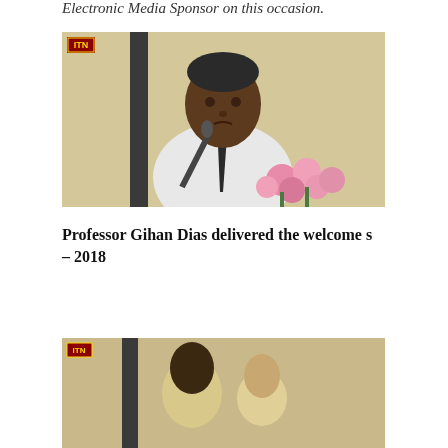Electronic Media Sponsor on this occasion.
[Figure (photo): Man in white shirt and dark tie speaking at podium with microphone, pink flowers in foreground, ITN logo in top-left corner of video frame]
Professor Gihan Dias delivered the welcome s - 2018
[Figure (photo): Partial view of another photo with ITN logo visible, showing people at an event]